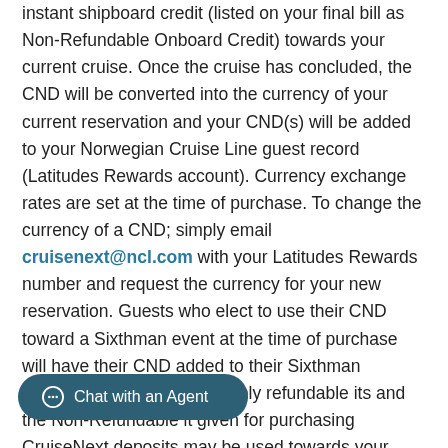instant shipboard credit (listed on your final bill as Non-Refundable Onboard Credit) towards your current cruise. Once the cruise has concluded, the CND will be converted into the currency of your current reservation and your CND(s) will be added to your Norwegian Cruise Line guest record (Latitudes Rewards account). Currency exchange rates are set at the time of purchase. To change the currency of a CND; simply email cruisenext@ncl.com with your Latitudes Rewards number and request the currency for your new reservation. Guests who elect to use their CND toward a Sixthman event at the time of purchase will have their CND added to their Sixthman Username profile in USD. Only refundable its and the Non-Refundable it given for purchasing CruiseNext deposits may be used towards your
[Figure (other): Chat with an Agent button — dark teal rounded pill button with chat icon and label text]